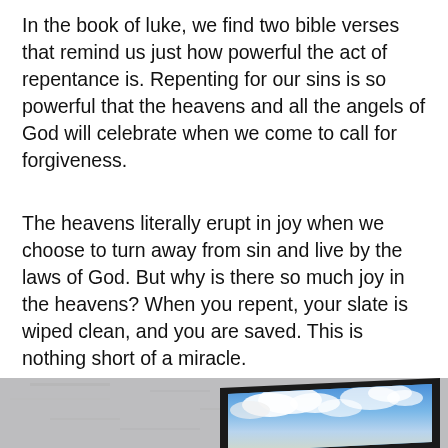In the book of luke, we find two bible verses that remind us just how powerful the act of repentance is. Repenting for our sins is so powerful that the heavens and all the angels of God will celebrate when we come to call for forgiveness.
The heavens literally erupt in joy when we choose to turn away from sin and live by the laws of God. But why is there so much joy in the heavens? When you repent, your slate is wiped clean, and you are saved. This is nothing short of a miracle.
[Figure (photo): A photograph showing a framed picture mounted on a concrete/stone textured wall. The framed picture contains an image of blue sky with white clouds.]